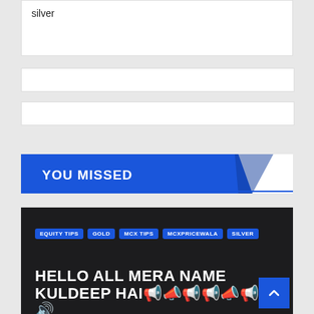silver
YOU MISSED
[Figure (screenshot): Dark card with category tags (EQUITY TIPS, GOLD, MCX TIPS, MCXPRICEWALA, SILVER) and bold white heading 'HELLO ALL MERA NAME KULDEEP HAI' with megaphone emojis]